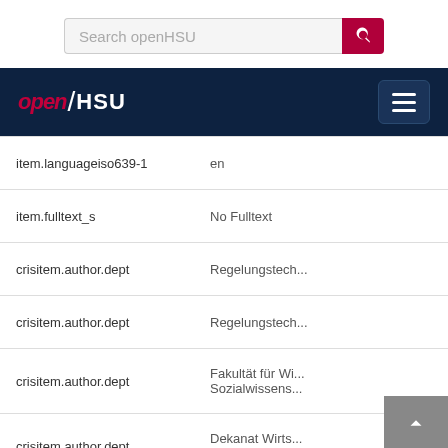[Figure (screenshot): Search bar with placeholder 'Search openHSU' and a red search button with magnifying glass icon]
[Figure (screenshot): openHSU navigation bar with logo and hamburger menu button on dark navy background]
| Field | Value |
| --- | --- |
| item.languageiso639-1 | en |
| item.fulltext_s | No Fulltext |
| crisitem.author.dept | Regelungstech... |
| crisitem.author.dept | Regelungstech... |
| crisitem.author.dept | Fakultät für Wi... Sozialwissens... |
| crisitem.author.dept | Dekanat Wirts... Sozialwissens... |
| crisitem.author.parentorg | Fakultät für Ele... |